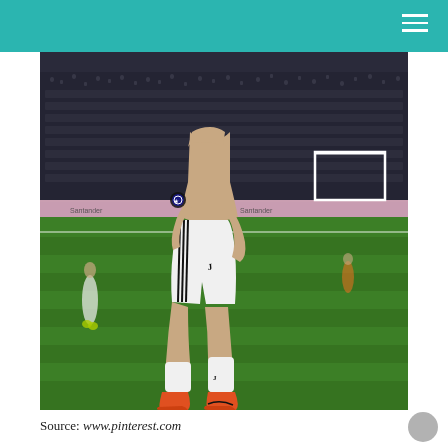[Figure (photo): A Juventus football player in white kit (shirt lifted revealing abdomen, white shorts with Juventus logo, white socks, orange Nike boots) on a football pitch during a UEFA Champions League match, crowd visible in background, green grass pitch, advertising boards visible, another player in background.]
Source: www.pinterest.com